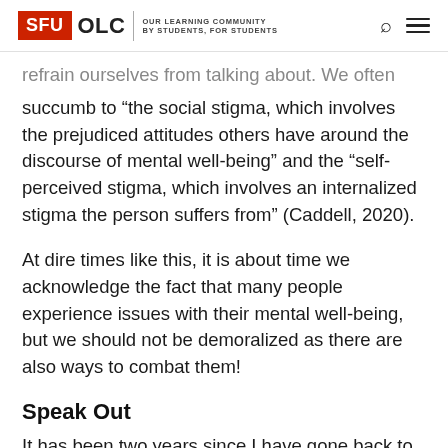SFU OLC | OUR LEARNING COMMUNITY BY STUDENTS, FOR STUDENTS
refrain ourselves from talking about. We often succumb to “the social stigma, which involves the prejudiced attitudes others have around the discourse of mental well-being” and the “self-perceived stigma, which involves an internalized stigma the person suffers from” (Caddell, 2020).
At dire times like this, it is about time we acknowledge the fact that many people experience issues with their mental well-being, but we should not be demoralized as there are also ways to combat them!
Speak Out
It has been two years since I have gone back to my